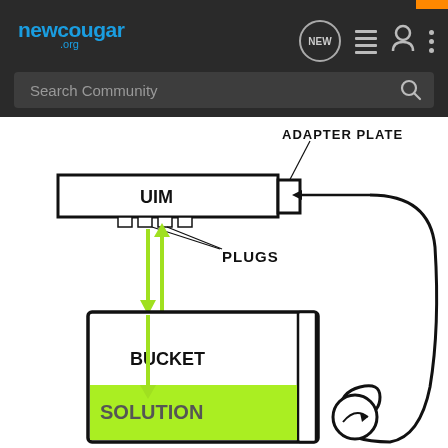newcougar.org
[Figure (schematic): Hand-drawn schematic diagram showing a UIM (Upper Injector Manifold) connected to an ADAPTER PLATE via plugs. A bucket containing SOLUTION is connected below the UIM with green arrows indicating flow direction (bidirectional up and down). A loop connects from the adapter plate down through a pump/valve symbol (circle with arrow) back to the bucket. Labels: ADAPTER PLATE, UIM, PLUGS, BUCKET, SOLUTION.]